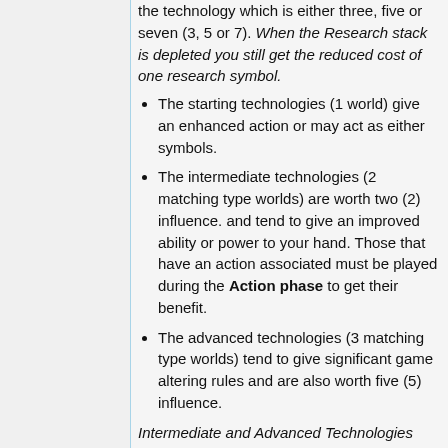the technology which is either three, five or seven (3, 5 or 7). When the Research stack is depleted you still get the reduced cost of one research symbol.
The starting technologies (1 world) give an enhanced action or may act as either symbols.
The intermediate technologies (2 matching type worlds) are worth two (2) influence. and tend to give an improved ability or power to your hand. Those that have an action associated must be played during the Action phase to get their benefit.
The advanced technologies (3 matching type worlds) tend to give significant game altering rules and are also worth five (5) influence.
Intermediate and Advanced Technologies are double-sided as one...